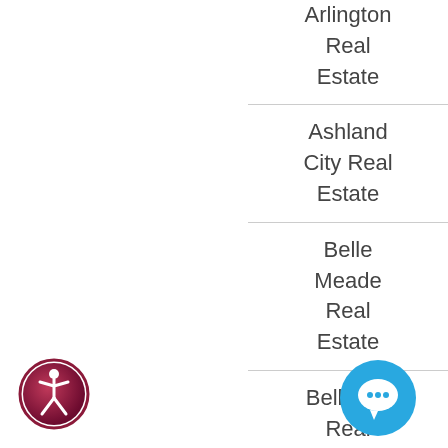Arlington Real Estate
Ashland City Real Estate
Belle Meade Real Estate
Bellevue Real Estate
Bethpage Real Estate
Bon Aqua
[Figure (illustration): Accessibility icon - circular badge with person figure, dark pink/maroon gradient]
[Figure (illustration): Chat/support icon - blue circle with speech bubble icon]